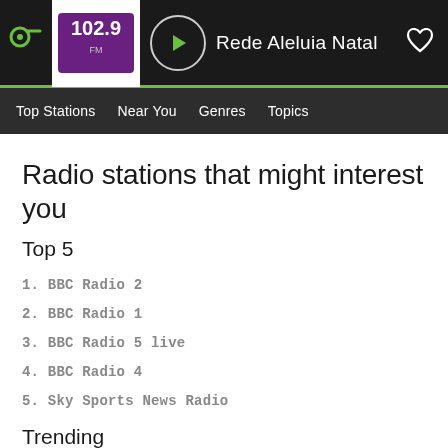[Figure (screenshot): Radio app top bar showing logo, station logo for 102.9, play button, station name 'Rede Aleluia Natal', and heart icon on dark background]
Top Stations   Near You   Genres   Topics
Radio stations that might interest you
Top 5
1. BBC Radio 2
2. BBC Radio 1
3. BBC Radio 5 live
4. BBC Radio 4
5. Sky Sports News Radio
Trending